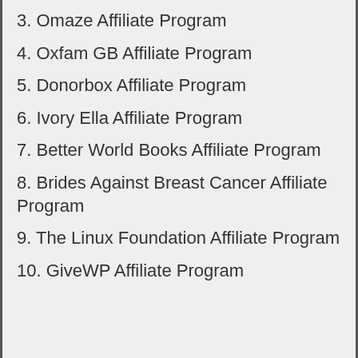3. Omaze Affiliate Program
4. Oxfam GB Affiliate Program
5. Donorbox Affiliate Program
6. Ivory Ella Affiliate Program
7. Better World Books Affiliate Program
8. Brides Against Breast Cancer Affiliate Program
9. The Linux Foundation Affiliate Program
10. GiveWP Affiliate Program
[Figure (infographic): Advertisement banner for Smoothie King with logo, text 'Get In On The Buzz', 'Smoothie King', a blue diamond arrow icon, and ad controls (play and close icons).]